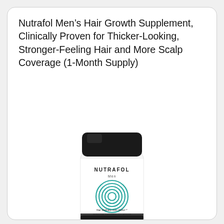Nutrafol Men’s Hair Growth Supplement, Clinically Proven for Thicker-Looking, Stronger-Feeling Hair and More Scalp Coverage (1-Month Supply)
[Figure (photo): Nutrafol Men hair growth supplement bottle with black cap, white label featuring teal concentric circles logo, text NUTRAFOL Men and Hair Wellness from Within, with yellow capsules in front]